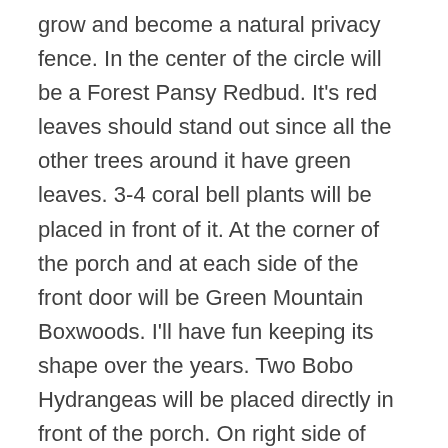grow and become a natural privacy fence. In the center of the circle will be a Forest Pansy Redbud. It's red leaves should stand out since all the other trees around it have green leaves. 3-4 coral bell plants will be placed in front of it. At the corner of the porch and at each side of the front door will be Green Mountain Boxwoods. I'll have fun keeping its shape over the years. Two Bobo Hydrangeas will be placed directly in front of the porch. On right side of door I'll have three Green Velvet Boxwoods, one under each dining room window and the third in the gap next to the Green Mountain. In between the dining room window I'll place a